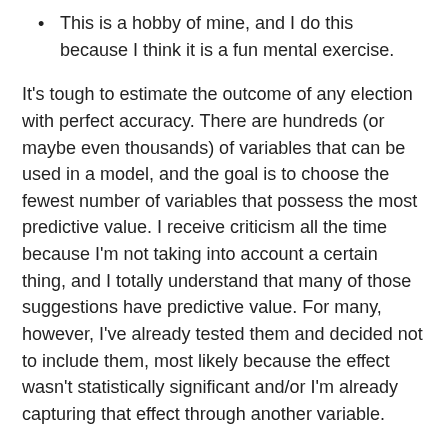This is a hobby of mine, and I do this because I think it is a fun mental exercise.
It's tough to estimate the outcome of any election with perfect accuracy. There are hundreds (or maybe even thousands) of variables that can be used in a model, and the goal is to choose the fewest number of variables that possess the most predictive value. I receive criticism all the time because I'm not taking into account a certain thing, and I totally understand that many of those suggestions have predictive value. For many, however, I've already tested them and decided not to include them, most likely because the effect wasn't statistically significant and/or I'm already capturing that effect through another variable.
Now, to address those who have suggested that I'm